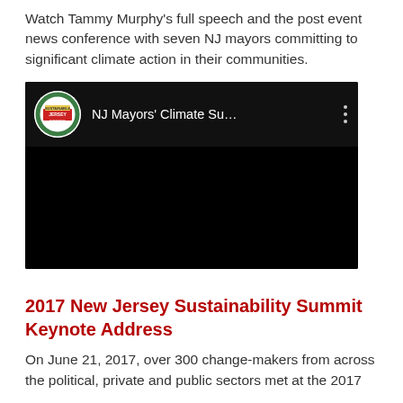Watch Tammy Murphy's full speech and the post event news conference with seven NJ mayors committing to significant climate action in their communities.
[Figure (screenshot): Embedded YouTube video player showing 'NJ Mayors' Climate Su...' with Sustainable Jersey logo on a black background]
2017 New Jersey Sustainability Summit Keynote Address
On June 21, 2017, over 300 change-makers from across the political, private and public sectors met at the 2017